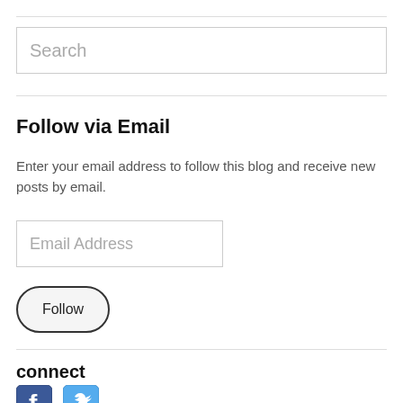Search
Follow via Email
Enter your email address to follow this blog and receive new posts by email.
Email Address
Follow
connect
[Figure (logo): Facebook and Twitter social media icons]